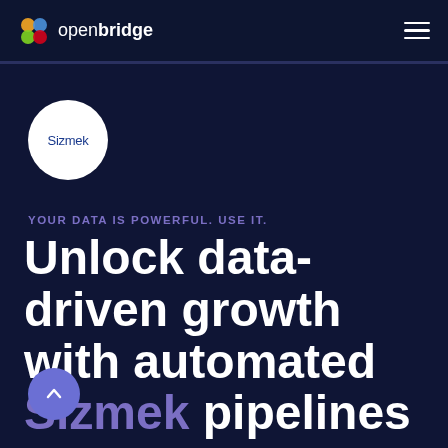openbridge
[Figure (logo): Sizmek circular logo with white background and blue text reading 'Sizmek']
YOUR DATA IS POWERFUL. USE IT.
Unlock data-driven growth with automated Sizmek pipelines